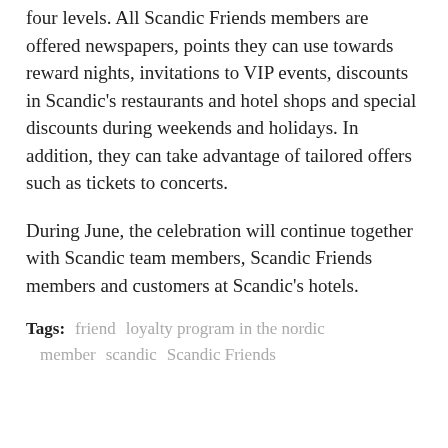four levels. All Scandic Friends members are offered newspapers, points they can use towards reward nights, invitations to VIP events, discounts in Scandic's restaurants and hotel shops and special discounts during weekends and holidays. In addition, they can take advantage of tailored offers such as tickets to concerts.
During June, the celebration will continue together with Scandic team members, Scandic Friends members and customers at Scandic's hotels.
Tags: friend   loyalty program in the nordic   member   scandic   Scandic Friends